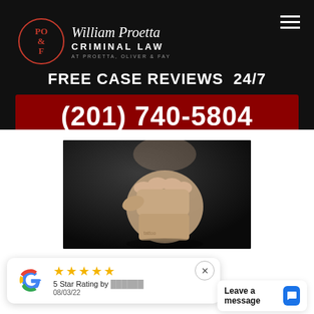[Figure (logo): William Proetta Criminal Law logo — circular emblem with PO&F text in red, firm name in italic serif, CRIMINAL LAW in capitals, AT PROETTA, OLIVER & FAY in small caps]
FREE CASE REVIEWS  24/7
(201) 740-5804
[Figure (photo): Close-up photo of a raised tattooed fist against a dark background]
[Figure (other): Google review card showing 5 stars, '5 Star Rating', date 08/03/22, with Google G logo]
Leave a message